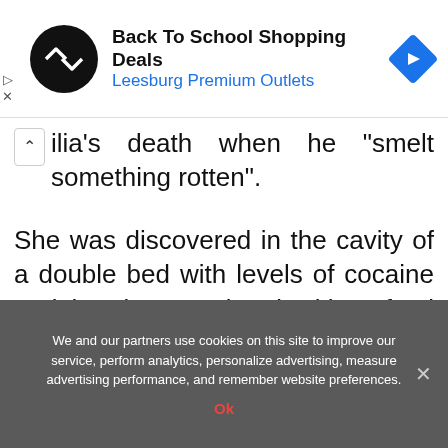[Figure (screenshot): Advertisement banner for Back To School Shopping Deals at Leesburg Premium Outlets, with a circular black logo with double arrow symbol and a blue diamond navigation icon on the right.]
ilia's death when he "smelt something rotten".
She was discovered in the cavity of a double bed with levels of cocaine and heroin associated with a fatal amount found in her blood.
We and our partners use cookies on this site to improve our service, perform analytics, personalize advertising, measure advertising performance, and remember website preferences.